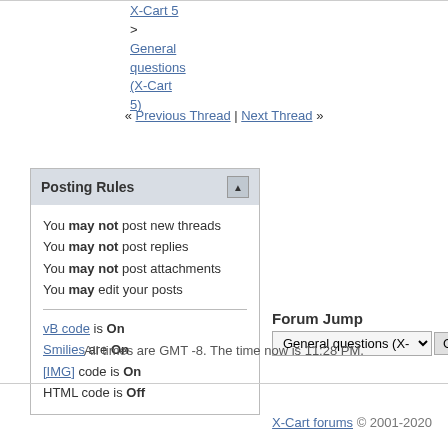X-Cart 5 > General questions (X-Cart 5)
« Previous Thread | Next Thread »
Posting Rules
You may not post new threads
You may not post replies
You may not post attachments
You may edit your posts
vB code is On
Smilies are On
[IMG] code is On
HTML code is Off
Forum Jump
General questions (X-Cart 5)
All times are GMT -8. The time now is 11:28 PM.
X-Cart forums © 2001-2020